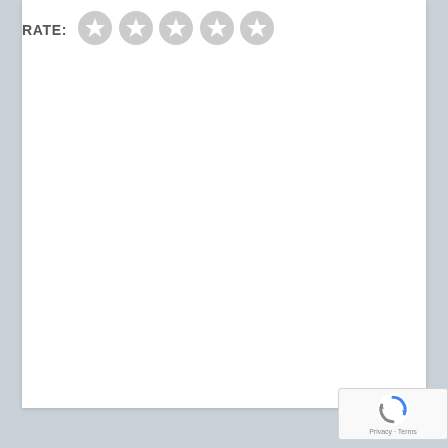RATE:
[Figure (other): Five empty star rating circles (unselected/grey stars for rating input)]
[Figure (other): reCAPTCHA badge with spinning arrows logo and 'Privacy - Terms' text]